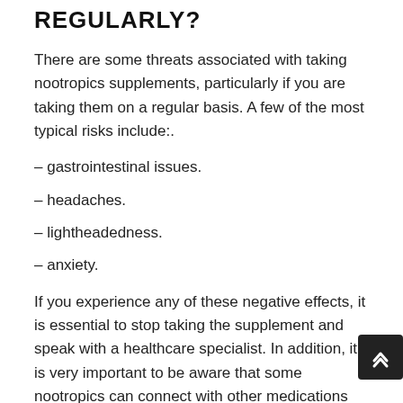REGULARLY?
There are some threats associated with taking nootropics supplements, particularly if you are taking them on a regular basis. A few of the most typical risks include:.
– gastrointestinal issues.
– headaches.
– lightheadedness.
– anxiety.
If you experience any of these negative effects, it is essential to stop taking the supplement and speak with a healthcare specialist. In addition, it is very important to be aware that some nootropics can connect with other medications you might be taking. It is constantly best to speak with a health care